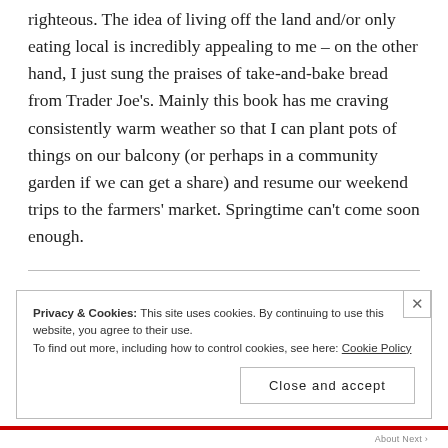righteous. The idea of living off the land and/or only eating local is incredibly appealing to me – on the other hand, I just sung the praises of take-and-bake bread from Trader Joe's. Mainly this book has me craving consistently warm weather so that I can plant pots of things on our balcony (or perhaps in a community garden if we can get a share) and resume our weekend trips to the farmers' market. Springtime can't come soon enough.
Privacy & Cookies: This site uses cookies. By continuing to use this website, you agree to their use.
To find out more, including how to control cookies, see here: Cookie Policy
Close and accept